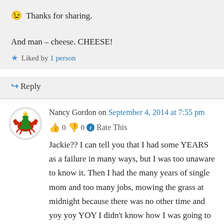😉 Thanks for sharing.

And man – cheese. CHEESE!
★ Liked by 1 person
↪ Reply
Nancy Gordon on September 4, 2014 at 7:55 pm
👍 0 👎 0 ℹ Rate This
Jackie?? I can tell you that I had some YEARS as a failure in many ways, but I was too unaware to know it. Then I had the many years of single mom and too many jobs, mowing the grass at midnight because there was no other time and yoy yoy YOY I didn't know how I was going to